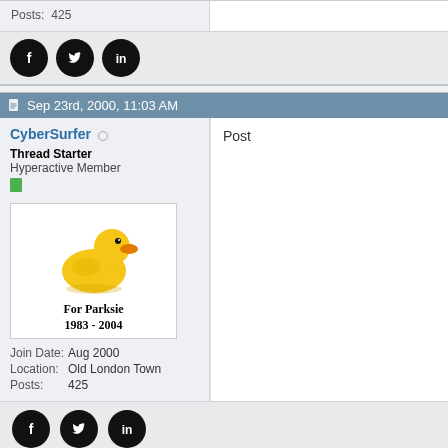Posts: 425
[Figure (screenshot): Social share buttons: Facebook, Twitter, LinkedIn (black circle icons)]
Sep 23rd, 2000, 11:03 AM
CyberSurfer (online indicator)
Thread Starter
Hyperactive Member
[Figure (illustration): Rubber duck avatar with caption For Parksie 1983 - 2004]
Join Date: Aug 2000
Location: Old London Town
Posts: 425
Post
[Figure (screenshot): Social share buttons: Facebook, Twitter, LinkedIn (black circle icons)]
Sep 23rd, 2000, 11:04 AM